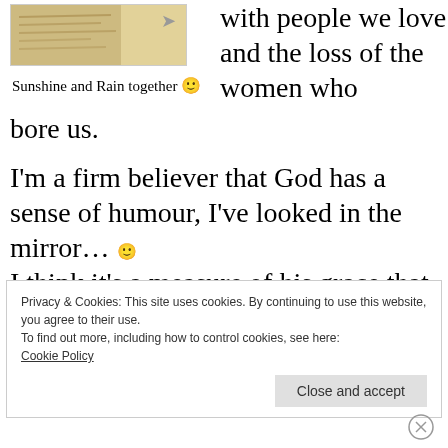[Figure (photo): Thumbnail image of a newspaper or document with an arrow icon in the top right corner]
Sunshine and Rain together 🙂
with people we love and the loss of the women who bore us.
I'm a firm believer that God has a sense of humour, I've looked in the mirror… 🙂 I think it's a measure of his grace that He has allowed me to ease the pain of loss by giving
Privacy & Cookies: This site uses cookies. By continuing to use this website, you agree to their use.
To find out more, including how to control cookies, see here:
Cookie Policy
Close and accept